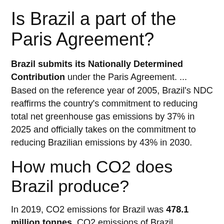Is Brazil a part of the Paris Agreement?
Brazil submits its Nationally Determined Contribution under the Paris Agreement. ... Based on the reference year of 2005, Brazil's NDC reaffirms the country's commitment to reducing total net greenhouse gas emissions by 37% in 2025 and officially takes on the commitment to reducing Brazilian emissions by 43% in 2030.
How much CO2 does Brazil produce?
In 2019, CO2 emissions for Brazil was 478.1 million tonnes. CO2 emissions of Brazil increased from 109.5 million tonnes in 1970